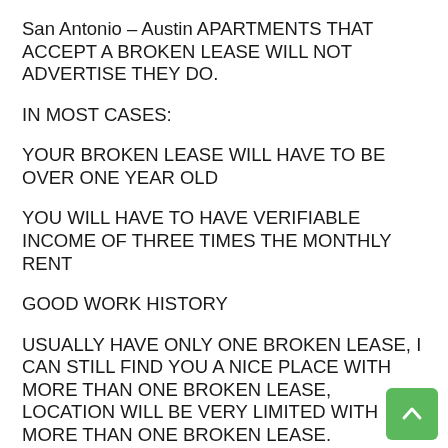San Antonio – Austin APARTMENTS THAT ACCEPT A BROKEN LEASE WILL NOT ADVERTISE THEY DO.
IN MOST CASES:
YOUR BROKEN LEASE WILL HAVE TO BE OVER ONE YEAR OLD
YOU WILL HAVE TO HAVE VERIFIABLE INCOME OF THREE TIMES THE MONTHLY RENT
GOOD WORK HISTORY
USUALLY HAVE ONLY ONE BROKEN LEASE, I CAN STILL FIND YOU A NICE PLACE WITH MORE THAN ONE BROKEN LEASE, LOCATION WILL BE VERY LIMITED WITH MORE THAN ONE BROKEN LEASE.
WE HAVE BUILT MANY RELATIONSHIPS WITH LEASING AGENTS, MANAGERS AND MANAGEMENT